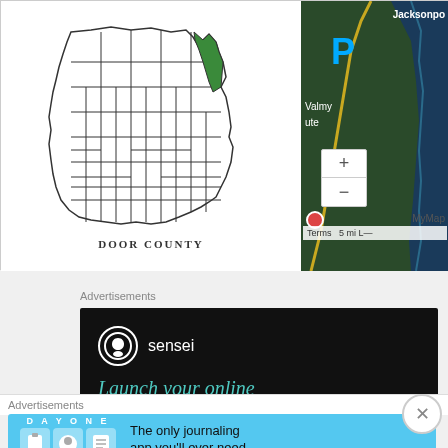[Figure (map): Outline map of Wisconsin with Door County highlighted in green]
DOOR COUNTY
[Figure (map): Satellite map showing Door County area with labels: Jacksonpo, P marker, Valmy, ute, zoom controls, MyMap, Terms 5 mi]
Advertisements
[Figure (other): Sensei advertisement: sensei logo and text 'Launch your online']
Advertisements
[Figure (other): DAY ONE journaling app advertisement: 'The only journaling app you'll ever need.']